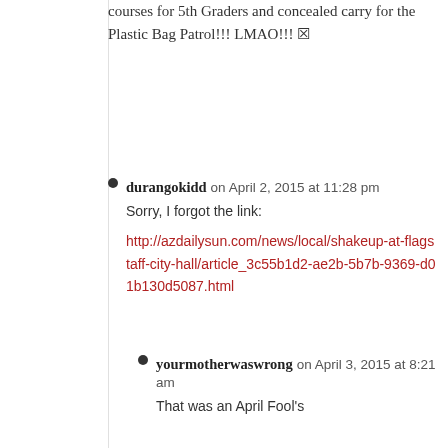courses for 5th Graders and concealed carry for the Plastic Bag Patrol!!! LMAO!!! 🔲
durangokidd on April 2, 2015 at 11:28 pm
Sorry, I forgot the link:
http://azdailysun.com/news/local/shakeup-at-flagstaff-city-hall/article_3c55b1d2-ae2b-5b7b-9369-d01b130d5087.html
yourmotherwaswrong on April 3, 2015 at 8:21 am
That was an April Fool's